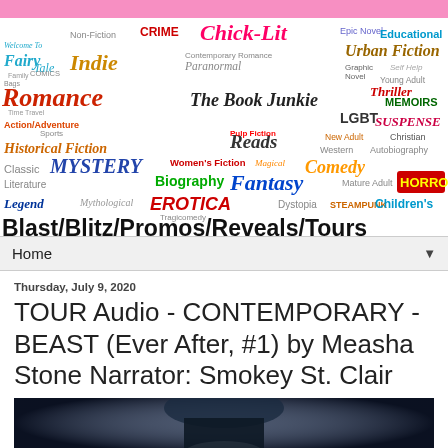[Figure (illustration): Blog banner with word cloud of book genres including Chick-Lit, Romance, Mystery, Fantasy, Horror, Children's, and Blast/Blitz/Promos/Reveals/Tours]
Home ▼
Thursday, July 9, 2020
TOUR Audio - CONTEMPORARY - BEAST (Ever After, #1) by Measha Stone Narrator: Smokey St. Clair
[Figure (photo): Book cover photo showing dark atmospheric image]